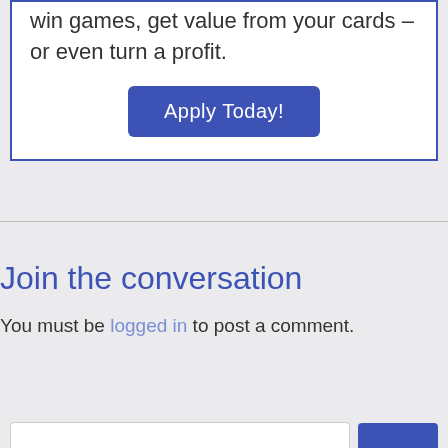win games, get value from your cards - or even turn a profit.
Apply Today!
Join the conversation
You must be logged in to post a comment.